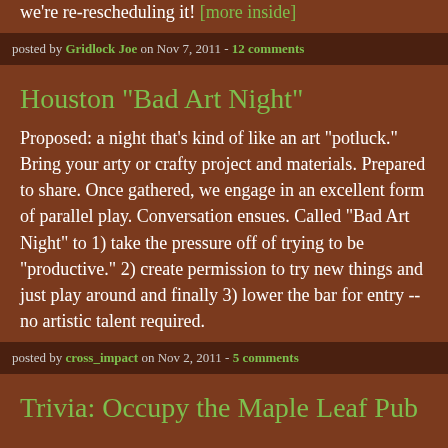we're re-rescheduling it! [more inside]
posted by Gridlock Joe on Nov 7, 2011 - 12 comments
Houston "Bad Art Night"
Proposed: a night that's kind of like an art "potluck." Bring your arty or crafty project and materials. Prepared to share. Once gathered, we engage in an excellent form of parallel play. Conversation ensues. Called "Bad Art Night" to 1) take the pressure off of trying to be "productive." 2) create permission to try new things and just play around and finally 3) lower the bar for entry -- no artistic talent required.
posted by cross_impact on Nov 2, 2011 - 5 comments
Trivia: Occupy the Maple Leaf Pub